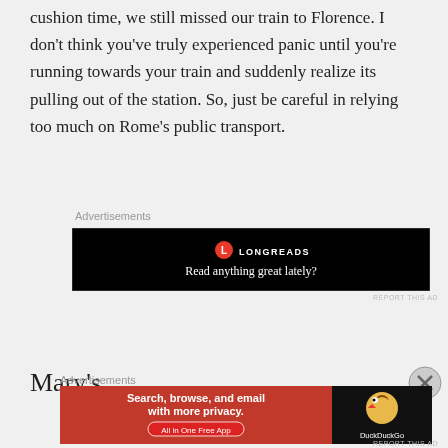cushion time, we still missed our train to Florence. I don't think you've truly experienced panic until you're running towards your train and suddenly realize its pulling out of the station. So, just be careful in relying too much on Rome's public transport.
Advertisements
[Figure (other): Longreads advertisement banner. Black background with Longreads logo (red circle with L) and text 'Read anything great lately?']
REPORT THIS AD
Mary's
Advertisements
[Figure (other): DuckDuckGo advertisement. Orange/red left side with text 'Search, browse, and email with more privacy. All in One Free App' and dark right side with DuckDuckGo duck logo and brand name.]
REPORT THIS AD